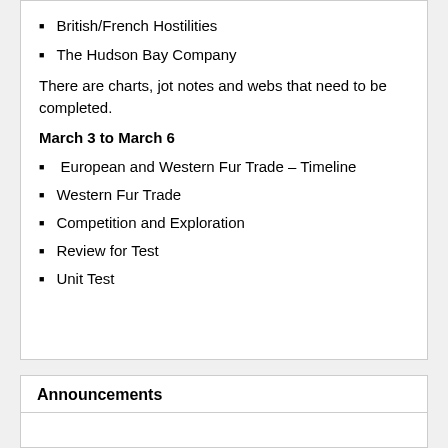British/French Hostilities
The Hudson Bay Company
There are charts, jot notes and webs that need to be completed.
March 3 to March 6
European and Western Fur Trade – Timeline
Western Fur Trade
Competition and Exploration
Review for Test
Unit Test
Announcements